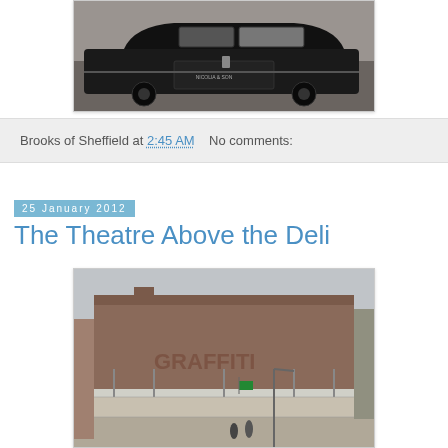[Figure (photo): Black hearse/funeral car parked in front of a stone building, text on car door reads something like 'NICOLIA & SON']
Brooks of Sheffield at 2:45 AM   No comments:
25 January 2012
The Theatre Above the Deli
[Figure (photo): Exterior of a large brick building/theatre with scaffolding in front, graffiti visible, overcast sky]